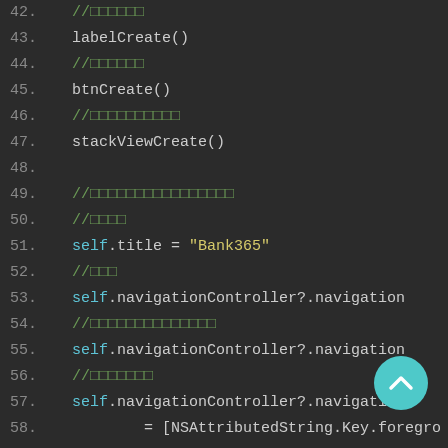[Figure (screenshot): Code editor screenshot showing Swift source code lines 42–62 with syntax highlighting on a dark background. Lines include function calls like labelCreate(), btnCreate(), stackViewCreate(), self.title = "Bank365", navigationController?.navigation... references, and self.view.backgroundColor = UIColor(h. A teal scroll-to-top FAB button is visible in the lower right.]